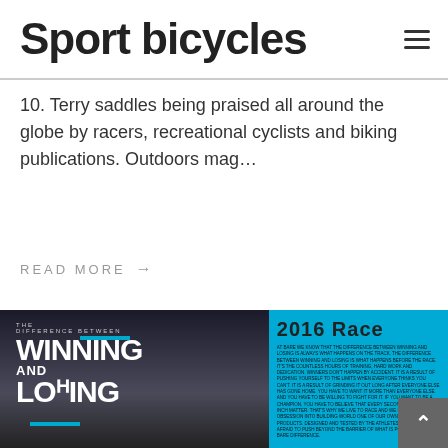Sport bicycles
10. Terry saddles being praised all around the globe by racers, recreational cyclists and biking publications. Outdoors mag…
READ MORE →
[Figure (photo): BMX/cycling themed image split into two halves: left side is a grayscale photo of a BMX track at dusk with bold text overlay reading 'THE DIFFERENCE BETWEEN WINNING AND LOSING' with blue accent lines; right side is cyan/blue with '2016 RACE' heading and body text about winning and losing.]